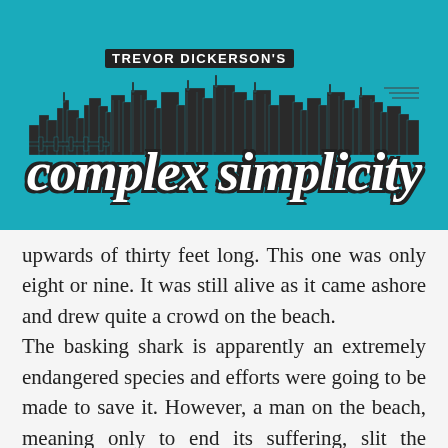[Figure (logo): Trevor Dickerson's Complex Simplicity blog logo with teal background, city skyline silhouette, and stylized script text]
upwards of thirty feet long. This one was only eight or nine. It was still alive as it came ashore and drew quite a crowd on the beach.

The basking shark is apparently an extremely endangered species and efforts were going to be made to save it. However, a man on the beach, meaning only to end its suffering, slit the shark's throat with his pocket knife. The Nags Head Beach Patrol and a nearby marine